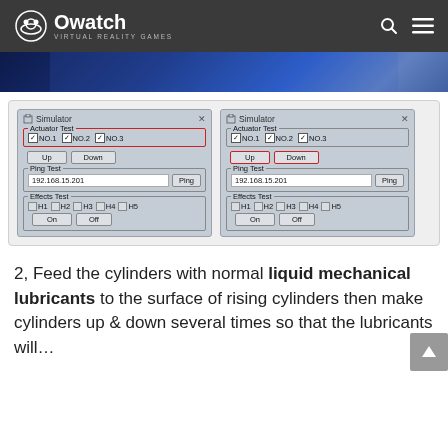Owatch VIRTUAL REALITY GAMES
[Figure (screenshot): Two Simulator dialog windows side by side showing Actuator Test (NO.1, NO.2, NO.3 checkboxes), Up/Down buttons, Ping Test field (192.168.15.201), and Effects Test (H1-H5 checkboxes, On/Off buttons). Left window has Actuator Test section highlighted in red, right window has Up/Down buttons highlighted in red.]
2, Feed the cylinders with normal liquid mechanical lubricants to the surface of rising cylinders then make cylinders up & down several times so that the lubricants will…